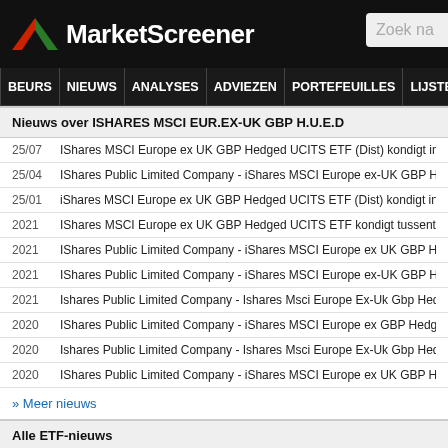MarketScreener
Nieuws over ISHARES MSCI EUR.EX-UK GBP H.U.E.D
25/07  IShares MSCI Europe ex UK GBP Hedged UCITS ETF (Dist) kondigt interi...
25/04  IShares Public Limited Company - iShares MSCI Europe ex-UK GBP Hedg...
25/01  iShares MSCI Europe ex UK GBP Hedged UCITS ETF (Dist) kondigt interi...
2021  IShares MSCI Europe ex UK GBP Hedged UCITS ETF kondigt tussentijds...
2021  IShares Public Limited Company - iShares MSCI Europe ex UK GBP Hedg...
2021  IShares Public Limited Company - iShares MSCI Europe ex-UK GBP Hedg...
2021  Ishares Public Limited Company - Ishares Msci Europe Ex-Uk Gbp Hedge...
2020  IShares Public Limited Company - iShares MSCI Europe ex GBP Hedged...
2020  Ishares Public Limited Company - Ishares Msci Europe Ex-Uk Gbp Hedge...
2020  IShares Public Limited Company - iShares MSCI Europe ex UK GBP Hedg...
» Meer nieuws
Alle ETF-nieuws
30/09  First Trust Enhanced Short Maturity ETF kondigt maandelijkse uitkering...